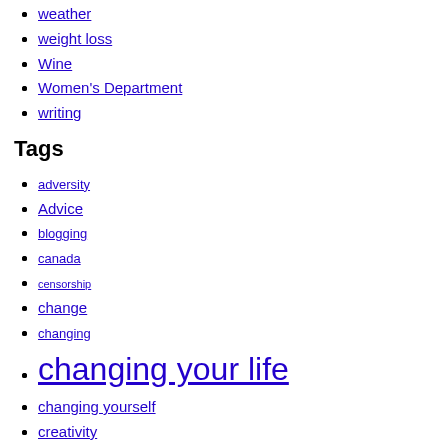weather
weight loss
Wine
Women's Department
writing
Tags
adversity
Advice
blogging
canada
censorship
change
changing
changing your life
changing yourself
creativity
Dating
death
depression
facebook
feminism
fitness